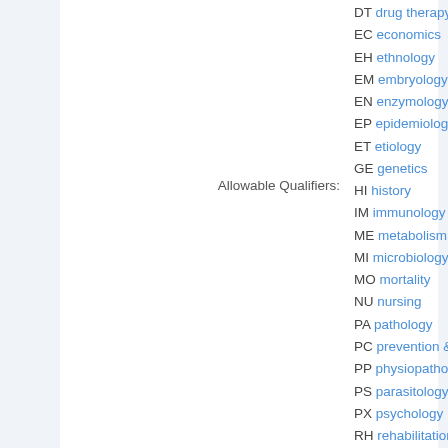Allowable Qualifiers: DT drug therapy EC economics EH ethnology EM embryology EN enzymology EP epidemiology ET etiology GE genetics HI history IM immunology ME metabolism MI microbiology MO mortality NU nursing PA pathology PC prevention & control PP physiopathology PS parasitology PX psychology RH rehabilitation RT radiotherapy SU surgery TH therapy UR urine VE veterinary